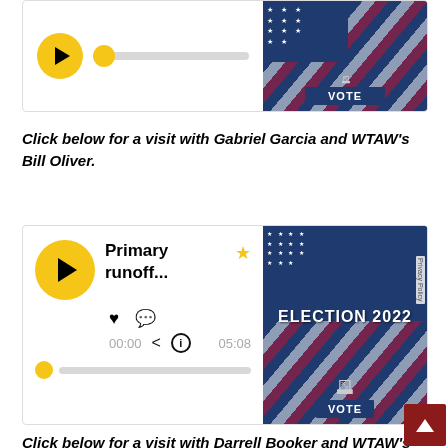[Figure (screenshot): Partial audio player widget at top showing a yellow play/pause control, a gray progress slider with yellow thumb at start, and an Election 2022 VOTE banner thumbnail image on the right side]
Click below for a visit with Gabriel Garcia and WTAW's Bill Oliver.
[Figure (screenshot): Audio player widget labeled 'Primary runoff...' with yellow play button, star icon, heart/comment/share/info icons, timestamps 00:00 and 05:08, progress slider, and Election 2022 VOTE thumbnail image on the right with Privacy Policy tab]
Click below for a visit with Darrell Booker and WTAW's Bill Oliver.
[Figure (screenshot): Partial audio player widget at bottom showing yellow play button and 'Primary' text with star icon and partial Election 2022 thumbnail]